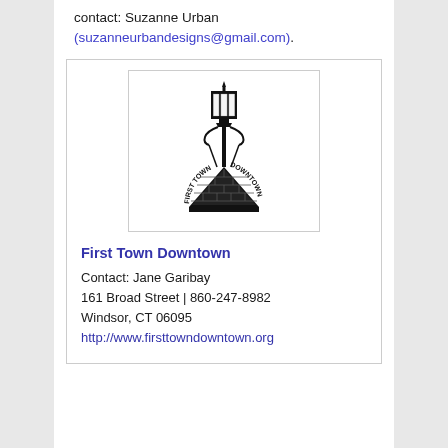contact: Suzanne Urban (suzanneurbandesigns@gmail.com).
[Figure (logo): First Town Downtown logo: a decorative street lamp above an inverted triangle made of bricks, with text 'First Town Downtown' curved around the triangle.]
First Town Downtown
Contact: Jane Garibay
161 Broad Street | 860-247-8982
Windsor, CT 06095
http://www.firsttowndowntown.org